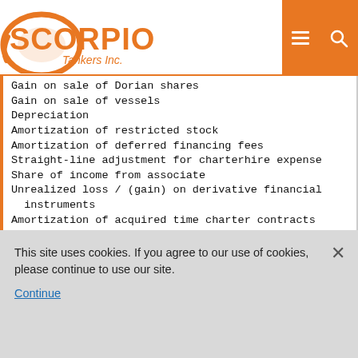[Figure (logo): Scorpio Tankers Inc. logo - orange scorpion graphic with company name]
Gain on sale of Dorian shares
Gain on sale of vessels
Depreciation
Amortization of restricted stock
Amortization of deferred financing fees
Straight-line adjustment for charterhire expense
Share of income from associate
Unrealized loss / (gain) on derivative financial instruments
Amortization of acquired time charter contracts
Accretion of convertible senior notes
This site uses cookies. If you agree to our use of cookies, please continue to use our site.